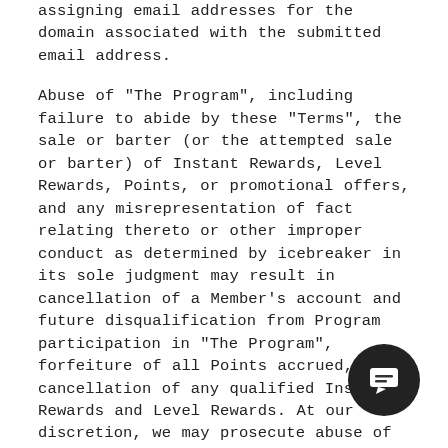assigning email addresses for the domain associated with the submitted email address.
Abuse of "The Program", including failure to abide by these "Terms", the sale or barter (or the attempted sale or barter) of Instant Rewards, Level Rewards, Points, or promotional offers, and any misrepresentation of fact relating thereto or other improper conduct as determined by icebreaker in its sole judgment may result in cancellation of a Member's account and future disqualification from Program participation in "The Program", forfeiture of all Points accrued, and cancellation of any qualified Instant Rewards and Level Rewards. At our discretion, we may prosecute abuse of "The Program" to the fullest extent of the law.
You may cancel your nature.rewards membership at any time by emailing icebreaker's Customer Service team at IB_CS@vfc.com or by calling 1-888-530-0... If you cancel your nature.rewards membership, your accrued Points will be forfeited.
Points must be for eligible purchases to be considered...